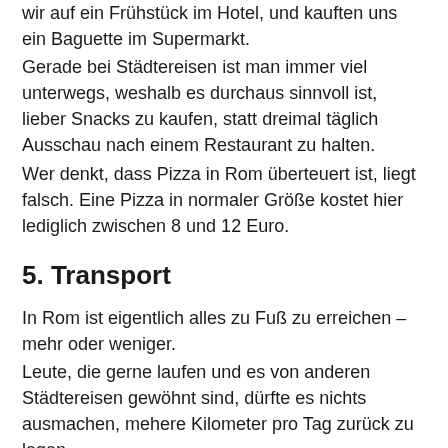wir auf ein Frühstück im Hotel, und kauften uns ein Baguette im Supermarkt. Gerade bei Städtereisen ist man immer viel unterwegs, weshalb es durchaus sinnvoll ist, lieber Snacks zu kaufen, statt dreimal täglich Ausschau nach einem Restaurant zu halten. Wer denkt, dass Pizza in Rom überteuert ist, liegt falsch. Eine Pizza in normaler Größe kostet hier lediglich zwischen 8 und 12 Euro.
5. Transport
In Rom ist eigentlich alles zu Fuß zu erreichen – mehr oder weniger. Leute, die gerne laufen und es von anderen Städtereisen gewöhnt sind, dürfte es nichts ausmachen, mehere Kilometer pro Tag zurück zu legen. Für Kinder oder ältere Menschen hingegen könnte es möglicherweise zu einem Problem werden, denn gerade bei